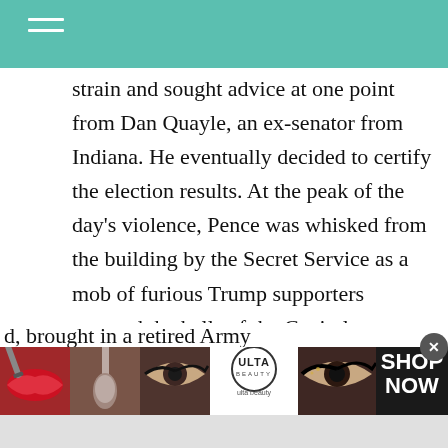strain and sought advice at one point from Dan Quayle, an ex-senator from Indiana. He eventually decided to certify the election results. At the peak of the day’s violence, Pence was whisked from the building by the Secret Service as a mob of furious Trump supporters stormed the halls of the Capitol demanding his head. The Willard operation was so serious that its members were actually brought in a retired Army
[Figure (screenshot): Advertisement banner from Ulta Beauty with makeup imagery including lips, brushes, and eyes, with SHOP NOW call to action. Infolinks label visible at top-left of ad.]